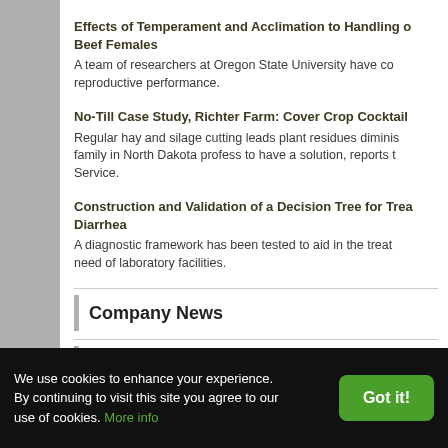Effects of Temperament and Acclimation to Handling on Beef Females
A team of researchers at Oregon State University have co... reproductive performance.
No-Till Case Study, Richter Farm: Cover Crop Cocktail
Regular hay and silage cutting leads plant residues dimini... family in North Dakota profess to have a solution, reports t... Service.
Construction and Validation of a Decision Tree for Treating Diarrhea
A diagnostic framework has been tested to aid in the treat... need of laboratory facilities.
Company News
Market Reports
We use cookies to enhance your experience. By continuing to visit this site you agree to our use of cookies. More info